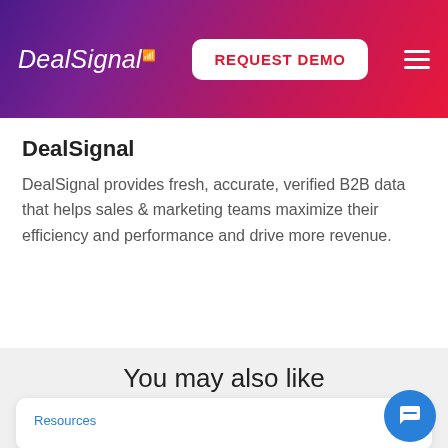DealSignal | REQUEST DEMO
DealSignal
DealSignal provides fresh, accurate, verified B2B data that helps sales & marketing teams maximize their efficiency and performance and drive more revenue.
You may also like
Resources